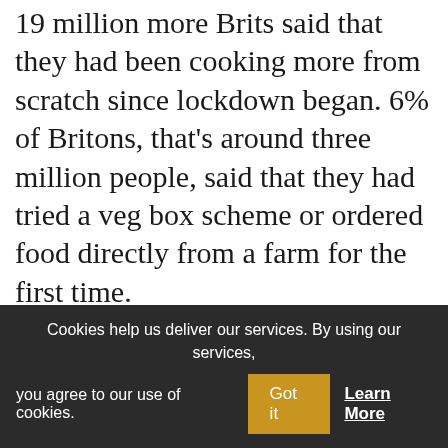19 million more Brits said that they had been cooking more from scratch since lockdown began. 6% of Britons, that's around three million people, said that they had tried a veg box scheme or ordered food directly from a farm for the first time.
In the UK, over 63% of all of our grocery shopping is done via the four largest supermarket groups: Tesco's, Sainsbury's, ASDA and Morrisons. What unites all of these is their effort to supply everything a household
Cookies help us deliver our services. By using our services, you agree to our use of cookies. Got it Learn More